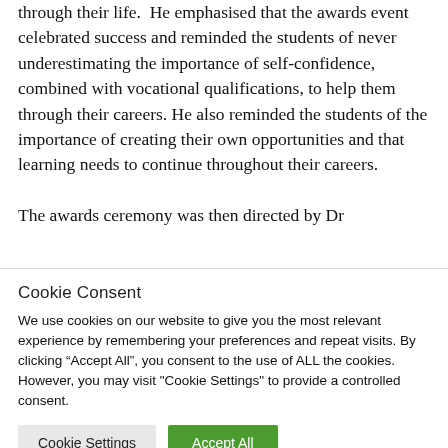through their life.  He emphasised that the awards event celebrated success and reminded the students of never underestimating the importance of self-confidence, combined with vocational qualifications, to help them through their careers. He also reminded the students of the importance of creating their own opportunities and that learning needs to continue throughout their careers.
The awards ceremony was then directed by Dr
Cookie Consent
We use cookies on our website to give you the most relevant experience by remembering your preferences and repeat visits. By clicking “Accept All”, you consent to the use of ALL the cookies. However, you may visit "Cookie Settings" to provide a controlled consent.